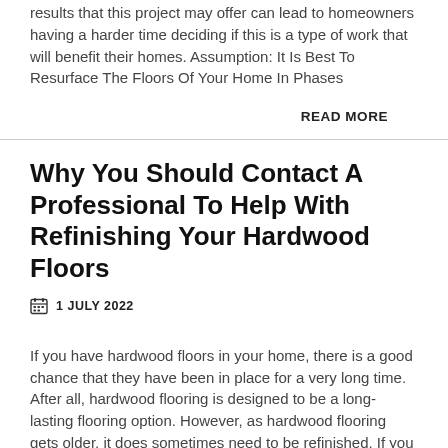results that this project may offer can lead to homeowners having a harder time deciding if this is a type of work that will benefit their homes. Assumption: It Is Best To Resurface The Floors Of Your Home In Phases
READ MORE
Why You Should Contact A Professional To Help With Refinishing Your Hardwood Floors
1 JULY 2022
If you have hardwood floors in your home, there is a good chance that they have been in place for a very long time. After all, hardwood flooring is designed to be a long-lasting flooring option. However, as hardwood flooring gets older, it does sometimes need to be refinished. If you